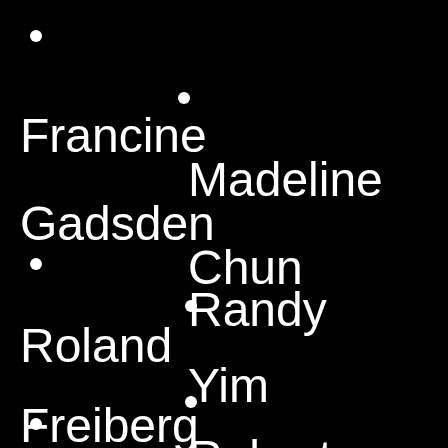[Figure (other): Black background with white names and bullet points scattered across the page. Names visible: Francine, Madeline, Gadsden, Chun, Roland, Randy, Yim, Freiberg, Robert. Multiple white circular bullet points at various positions.]